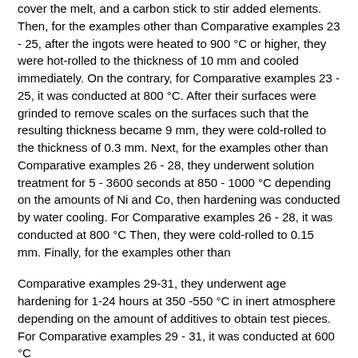cover the melt, and a carbon stick to stir added elements. Then, for the examples other than Comparative examples 23 - 25, after the ingots were heated to 900 °C or higher, they were hot-rolled to the thickness of 10 mm and cooled immediately. On the contrary, for Comparative examples 23 - 25, it was conducted at 800 °C. After their surfaces were grinded to remove scales on the surfaces such that the resulting thickness became 9 mm, they were cold-rolled to the thickness of 0.3 mm. Next, for the examples other than Comparative examples 26 - 28, they underwent solution treatment for 5 - 3600 seconds at 850 - 1000 °C depending on the amounts of Ni and Co, then hardening was conducted by water cooling. For Comparative examples 26 - 28, it was conducted at 800 °C Then, they were cold-rolled to 0.15 mm. Finally, for the examples other than
Comparative examples 29-31, they underwent age hardening for 1-24 hours at 350 -550 °C in inert atmosphere depending on the amount of additives to obtain test pieces. For Comparative examples 29 - 31, it was conducted at 600 °C